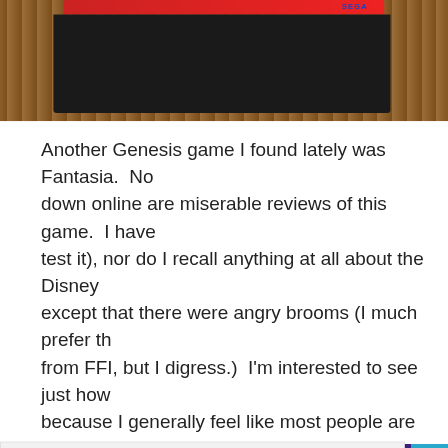[Figure (photo): Photo of a Sega Genesis game cartridge (Fantasia) on a wooden surface, showing the red label with SEGA branding]
Another Genesis game I found lately was Fantasia.  No down online are miserable reviews of this game.  I have test it), nor do I recall anything at all about the Disney except that there were angry brooms (I much prefer th from FFI, but I digress.)  I'm interested to see just how because I generally feel like most people are way too h be one of them, or it might truly be a horrible atrocity.
[Figure (screenshot): Partial screenshot of another game, purple/blue background with a lighter colored UI element]
Privacy & Cookies: This site uses cookies. By continuing to use this website, you agree to their use.
To find out more, including how to control cookies, see here: Cookie Policy
Close and accept